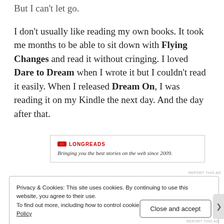But I can't let go.
I don't usually like reading my own books. It took me months to be able to sit down with Flying Changes and read it without cringing. I loved Dare to Dream when I wrote it but I couldn't read it easily. When I released Dream On, I was reading it on my Kindle the next day. And the day after that.
[Figure (screenshot): Advertisement banner for Longreads: red logo icon, bold red text 'LONGREADS', tagline 'Bringing you the best stories on the web since 2009.']
REPORT THIS AD
Privacy & Cookies: This site uses cookies. By continuing to use this website, you agree to their use.
To find out more, including how to control cookies, see here: Cookie Policy
Close and accept